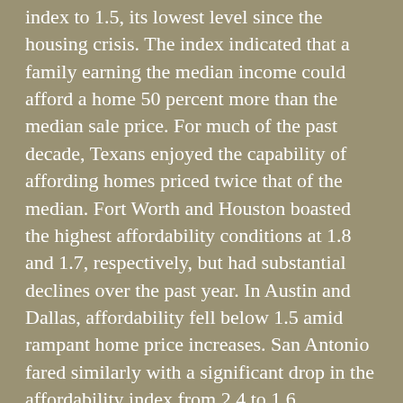index to 1.5, its lowest level since the housing crisis. The index indicated that a family earning the median income could afford a home 50 percent more than the median sale price. For much of the past decade, Texans enjoyed the capability of affording homes priced twice that of the median. Fort Worth and Houston boasted the highest affordability conditions at 1.8 and 1.7, respectively, but had substantial declines over the past year. In Austin and Dallas, affordability fell below 1.5 amid rampant home price increases. San Antonio fared similarly with a significant drop in the affordability index from 2.4 to 1.6.
Furthermore, the Explosive Behavior Map indicated a misalignment in North Texas home prices relative to their fundamental